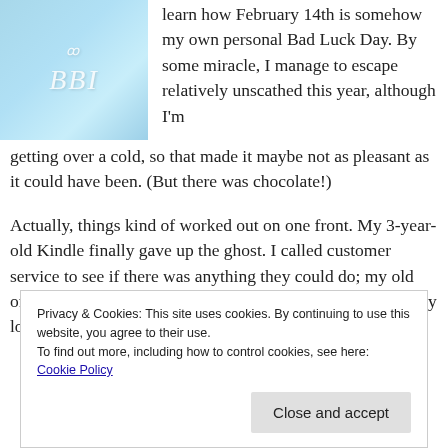[Figure (illustration): Book cover with light blue background and decorative monogram letters 'BBI' in white italic script]
learn how February 14th is somehow my own personal Bad Luck Day. By some miracle, I manage to escape relatively unscathed this year, although I'm getting over a cold, so that made it maybe not as pleasant as it could have been. (But there was chocolate!)
Actually, things kind of worked out on one front. My 3-year-old Kindle finally gave up the ghost. I called customer service to see if there was anything they could do; my old one was long out of warrantee, but I paid them a surprisingly low amount for a replacement and by whatever
Privacy & Cookies: This site uses cookies. By continuing to use this website, you agree to their use.
To find out more, including how to control cookies, see here: Cookie Policy